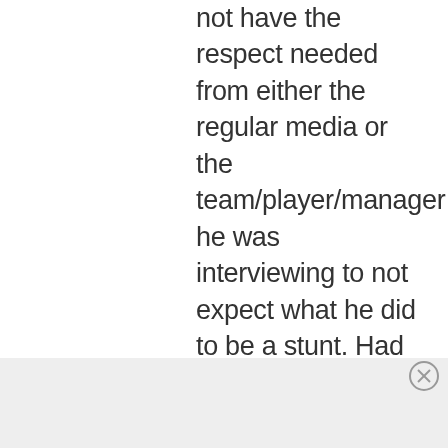not have the respect needed from either the regular media or the team/player/manager he was interviewing to not expect what he did to be a stunt. Had he been there since spring training and had he taken baseball reporting seriously prior… then I doubt there is any
Advertisements